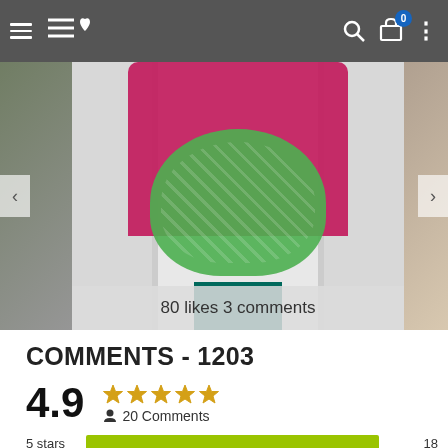Navigation bar with hamburger menu, logo, search, cart (0), more options
[Figure (photo): Woman wearing a green patterned apron/dress over a magenta/pink cardigan, standing in front of a white door. Side thumbnails visible on left and right. Caption overlay: 80 likes 3 comments]
80 likes 3 comments
COMMENTS - 1203
[Figure (bar-chart): Rating distribution]